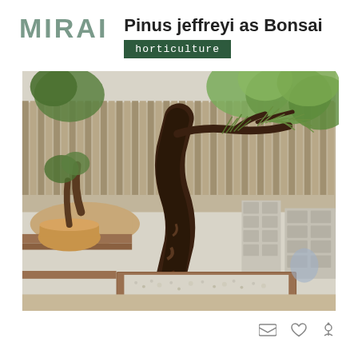MIRAI
Pinus jeffreyi as Bonsai
horticulture
[Figure (photo): A large Pinus jeffreyi bonsai tree with dramatic twisted trunk displayed in a wooden grow box with white gravel, surrounded by other pine bonsai trees in an outdoor garden setting. Cinder block benches and a wooden fence visible in background.]